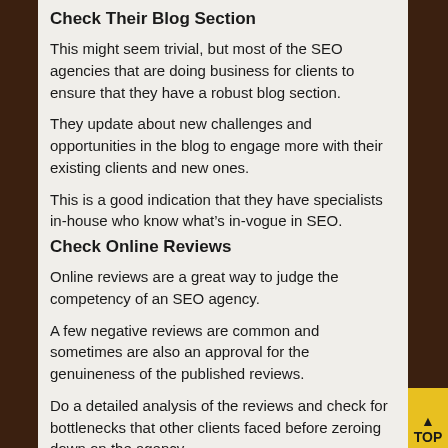Check Their Blog Section
This might seem trivial, but most of the SEO agencies that are doing business for clients to ensure that they have a robust blog section.
They update about new challenges and opportunities in the blog to engage more with their existing clients and new ones.
This is a good indication that they have specialists in-house who know what's in-vogue in SEO.
Check Online Reviews
Online reviews are a great way to judge the competency of an SEO agency.
A few negative reviews are common and sometimes are also an approval for the genuineness of the published reviews.
Do a detailed analysis of the reviews and check for bottlenecks that other clients faced before zeroing down on the agency.
Ask Them Which Tools They Use